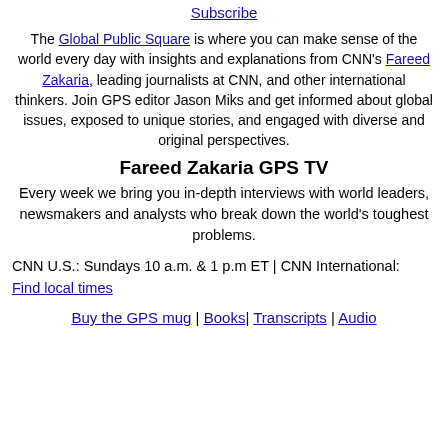Subscribe
The Global Public Square is where you can make sense of the world every day with insights and explanations from CNN's Fareed Zakaria, leading journalists at CNN, and other international thinkers. Join GPS editor Jason Miks and get informed about global issues, exposed to unique stories, and engaged with diverse and original perspectives.
Fareed Zakaria GPS TV
Every week we bring you in-depth interviews with world leaders, newsmakers and analysts who break down the world's toughest problems.
CNN U.S.: Sundays 10 a.m. & 1 p.m ET | CNN International: Find local times
Buy the GPS mug | Books| Transcripts | Audio